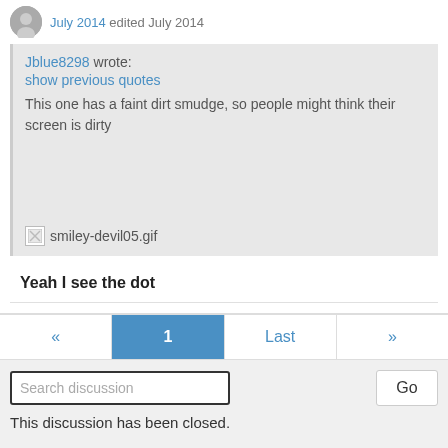July 2014 edited July 2014
Jblue8298 wrote:
show previous quotes
This one has a faint dirt smudge, so people might think their screen is dirty
[Figure (other): Broken image placeholder labeled smiley-devil05.gif]
Yeah I see the dot
« 1 Last »
Search discussion
Go
This discussion has been closed.